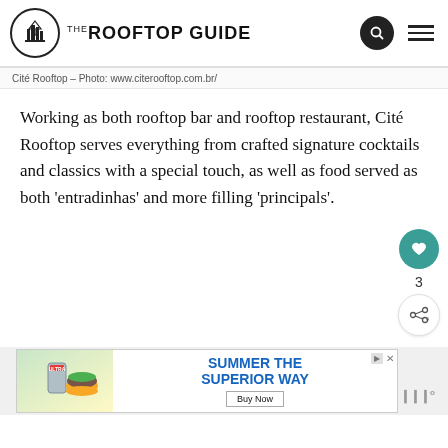The Rooftop Guide
Cité Rooftop – Photo: www.citerooftop.com.br/
Working as both rooftop bar and rooftop restaurant, Cité Rooftop serves everything from crafted signature cocktails and classics with a special touch, as well as food served as both 'entradinhas' and more filling 'principals'.
[Figure (other): Advertisement banner: Summer The Superior Way – Buy Now]
[Figure (other): Floating action buttons: heart/like (teal circle), count 3, share button]